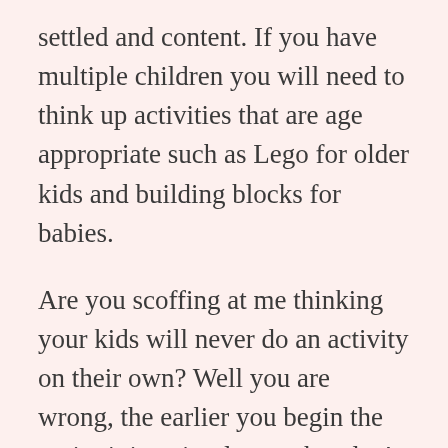settled and content. If you have multiple children you will need to think up activities that are age appropriate such as Lego for older kids and building blocks for babies.
Are you scoffing at me thinking your kids will never do an activity on their own? Well you are wrong, the earlier you begin the easier it is to implement but don't give up on your older children. Initially when you are first starting out you may need to supervise them for a few days and keep it